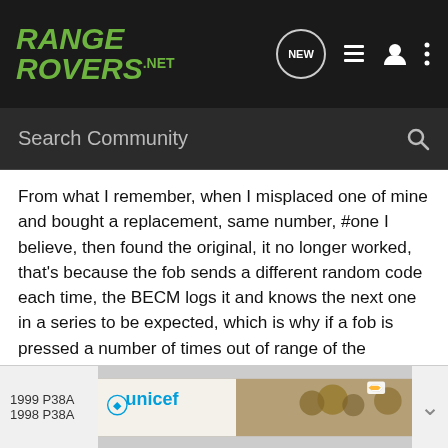RANGE ROVERS .NET
From what I remember, when I misplaced one of mine and bought a replacement, same number, #one I believe, then found the original, it no longer worked, that's because the fob sends a different random code each time, the BECM logs it and knows the next one in a series to be expected, which is why if a fob is pressed a number of times out of range of the reciever, it has to be re-synced. I seem to remember I could re-sync the original one losing the use of the new one, but it was a long time ago and could be wrong, I'm sure someone will correct me if so.
cheers John
[Figure (screenshot): Advertisement banner showing UNICEF logo with children in background, with metadata showing 1999 P38A and 1998 P38A]